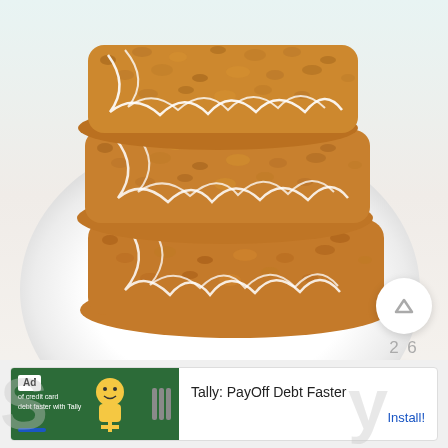[Figure (photo): Stack of granola/oat bars with white icing drizzle on a white plate, against a teal/mint dotted background. Three circular UI buttons on the right side: an upvote arrow button, a heart/like button, and a teal search/magnify button. Vote count '26' between upvote and heart buttons.]
[Figure (screenshot): Advertisement bar at the bottom: green banner with 'Ad' badge, small text 'of credit card debt faster with Tally', decorative character, Tally tally-mark logo. Right side shows 'Tally: PayOff Debt Faster' and 'Install!' link in blue.]